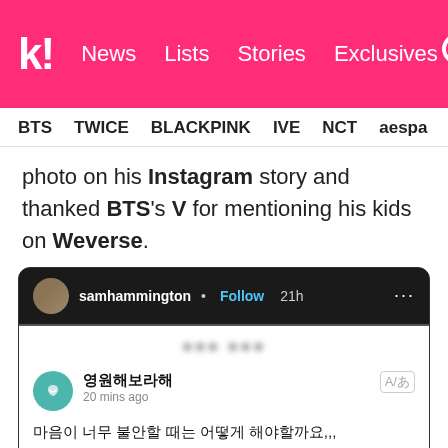[Figure (screenshot): Koreaboo website header with pink background, logo 'k!' and navigation links: News, Lists, Stories, Exclusives, search icon]
BTS  TWICE  BLACKPINK  IVE  NCT  aespa  SHINee
photo on his Instagram story and thanked BTS's V for mentioning his kids on Weverse.
[Figure (screenshot): Instagram story screenshot from samhammington - Follow 21h, showing a Weverse post by user '영원해보라해' posted 20 mins ago with Korean text and a partial image of a person with italic text 'When V from']